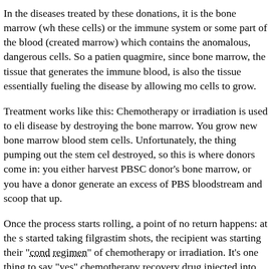In the diseases treated by these donations, it is the bone marrow (wh these cells) or the immune system or some part of the blood (created marrow) which contains the anomalous, dangerous cells. So a patien quagmire, since bone marrow, the tissue that generates the immune blood, is also the tissue essentially fueling the disease by allowing mo cells to grow.
Treatment works like this: Chemotherapy or irradiation is used to eli disease by destroying the bone marrow. You grow new bone marrow blood stem cells. Unfortunately, the thing pumping out the stem cel destroyed, so this is where donors come in: you either harvest PBSC donor's bone marrow, or you have a donor generate an excess of PBS bloodstream and scoop that up.
Once the process starts rolling, a point of no return happens: at the s started taking filgrastim shots, the recipient was starting their "cond regimen" of chemotherapy or irradiation. It's one thing to say "yes" chemotherapy recovery drug injected into you. It's another to be tol